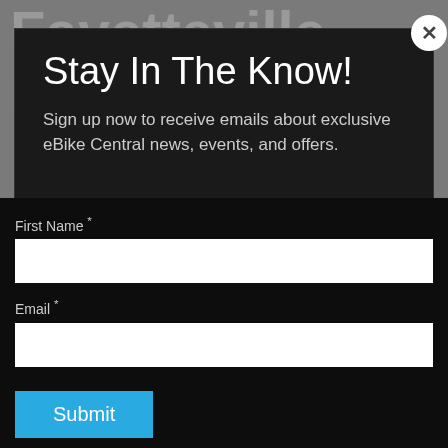Stay In The Know!
Sign up now to receive emails about exclusive eBike Central news, events, and offers.
First Name *
Email *
Submit